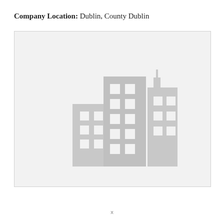Company Location: Dublin, County Dublin
[Figure (illustration): Placeholder image showing three grey office buildings / skyscrapers silhouette icon on a light grey background]
x